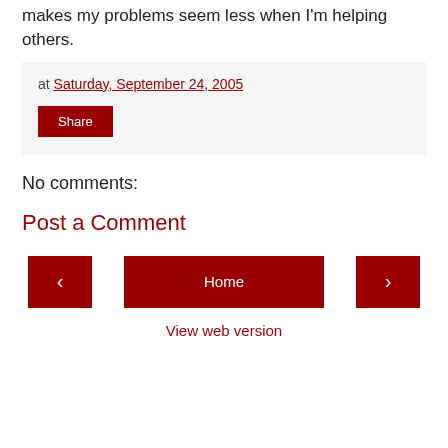makes my problems seem less when I'm helping others.
at Saturday, September 24, 2005
Share
No comments:
Post a Comment
‹  Home  ›
View web version